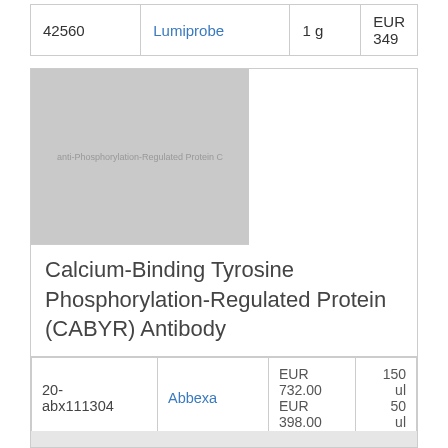|  |  |  |  |
| --- | --- | --- | --- |
| 42560 | Lumiprobe | 1 g | EUR 349 |
[Figure (photo): Placeholder image for Calcium-Binding Tyrosine Phosphorylation-Regulated Protein antibody product with watermark text]
Calcium-Binding Tyrosine Phosphorylation-Regulated Protein (CABYR) Antibody
|  |  |  |  |
| --- | --- | --- | --- |
| 20-abx111304 | Abbexa | EUR 732.00
EUR 398.00 | 150 ul
50 ul |